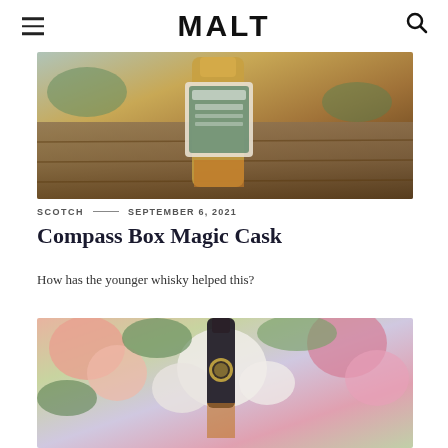MALT
[Figure (photo): A whisky bottle on a wooden surface, partial label visible with green and text details, warm amber liquid visible through glass.]
SCOTCH — SEPTEMBER 6, 2021
Compass Box Magic Cask
How has the younger whisky helped this?
[Figure (photo): A dark bottle of Compass Box whisky surrounded by colourful flowers including pink dahlias, white hydrangeas, and green foliage.]